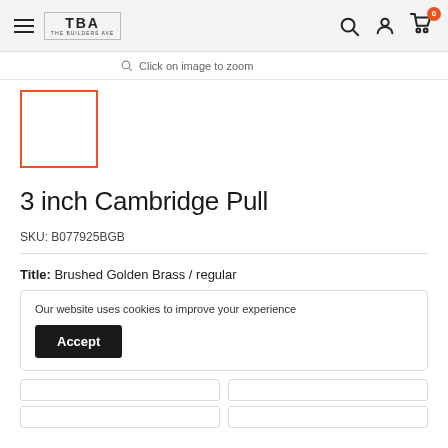TBA THE BUILDERS AVE — navigation header with search, account, and cart icons
Click on image to zoom
[Figure (other): Product thumbnail placeholder with orange border, empty white square]
3 inch Cambridge Pull
SKU: B077925BGB
Title: Brushed Golden Brass / regular
Our website uses cookies to improve your experience
Accept